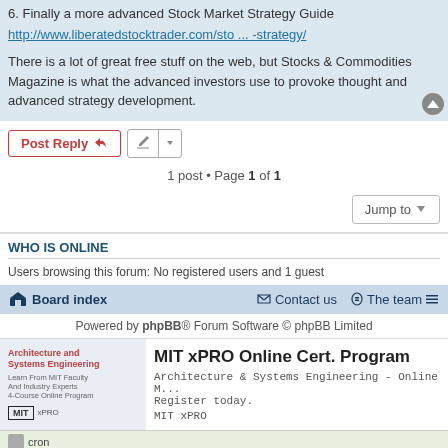6. Finally a more advanced Stock Market Strategy Guide http://www.liberatedstocktrader.com/sto ... -strategy/
There is a lot of great free stuff on the web, but Stocks & Commodities Magazine is what the advanced investors use to provoke thought and advanced strategy development.
Post Reply | Tools | 1 post • Page 1 of 1
Jump to
WHO IS ONLINE
Users browsing this forum: No registered users and 1 guest
Board index   Contact us   The team
Powered by phpBB® Forum Software © phpBB Limited
[Figure (screenshot): MIT xPRO Online Certificate Program advertisement showing a person studying and MIT xPRO logo]
cron